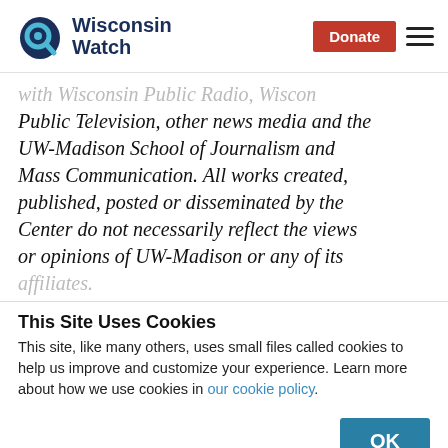Wisconsin Watch | Donate
with Wisconsin Public Radio, Wisconsin Public Television, other news media and the UW-Madison School of Journalism and Mass Communication. All works created, published, posted or disseminated by the Center do not necessarily reflect the views or opinions of UW-Madison or any of its affiliates.
This Site Uses Cookies
This site, like many others, uses small files called cookies to help us improve and customize your experience. Learn more about how we use cookies in our cookie policy.